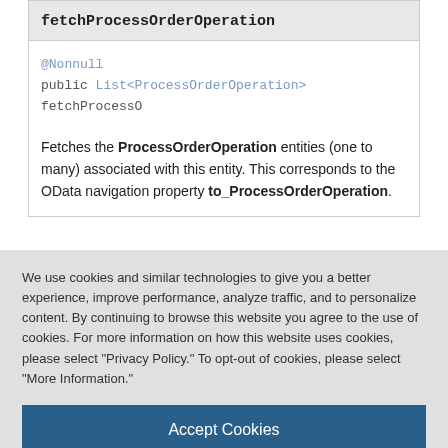fetchProcessOrderOperation
@Nonnull
public List<ProcessOrderOperation> fetchProcessO...
Fetches the ProcessOrderOperation entities (one to many) associated with this entity. This corresponds to the OData navigation property to_ProcessOrderOperation.
We use cookies and similar technologies to give you a better experience, improve performance, analyze traffic, and to personalize content. By continuing to browse this website you agree to the use of cookies. For more information on how this website uses cookies, please select "Privacy Policy." To opt-out of cookies, please select "More Information."
Accept Cookies
More Information
Privacy Policy | Powered by: TrustArc
- If the entity is unmanaged, i.e. it has